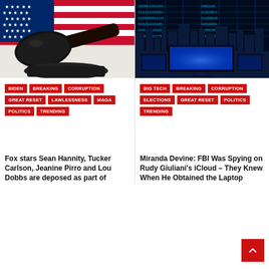[Figure (photo): A judge's gavel resting on a wooden surface with an American flag in the background]
[Figure (photo): A digital cyber technology background with binary code, glowing blue city skyline, and computer monitors]
BIDEN
BREAKING
CORRUPTION
GREAT RESET
LAWLESSNESS
MAGA
POLITICS
TRENDING
Fox stars Sean Hannity, Tucker Carlson, Jeanine Pirro and Lou Dobbs are deposed as part of
BIG TECH
BREAKING
CORRUPTION
ELECTIONS
GREAT RESET
POLITICS
TRENDING
Miranda Devine: FBI Was Spying on Rudy Giuliani's iCloud – They Knew When He Obtained the Laptop